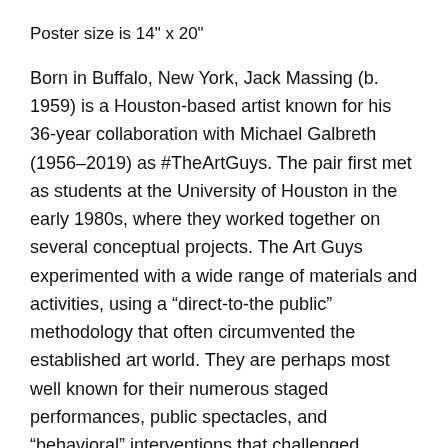Poster size is 14" x 20"
Born in Buffalo, New York, Jack Massing (b. 1959) is a Houston-based artist known for his 36-year collaboration with Michael Galbreth (1956–2019) as #TheArtGuys. The pair first met as students at the University of Houston in the early 1980s, where they worked together on several conceptual projects. The Art Guys experimented with a wide range of materials and activities, using a “direct-to-the public” methodology that often circumvented the established art world. They are perhaps most well known for their numerous staged performances, public spectacles, and “behavioral” interventions that challenged perceived divisions between art and life.
Massing continues to work as a solo artist and collaborates with others to produce new work. His work is currently